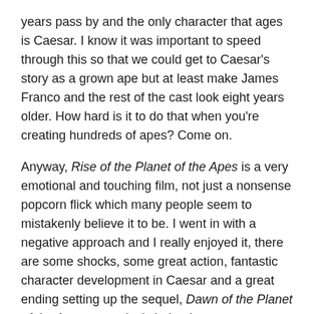years pass by and the only character that ages is Caesar. I know it was important to speed through this so that we could get to Caesar's story as a grown ape but at least make James Franco and the rest of the cast look eight years older. How hard is it to do that when you're creating hundreds of apes? Come on.
Anyway, Rise of the Planet of the Apes is a very emotional and touching film, not just a nonsense popcorn flick which many people seem to mistakenly believe it to be. I went in with a negative approach and I really enjoyed it, there are some shocks, some great action, fantastic character development in Caesar and a great ending setting up the sequel, Dawn of the Planet of the Apes, very nicely indeed.
My Rating: 7/10.